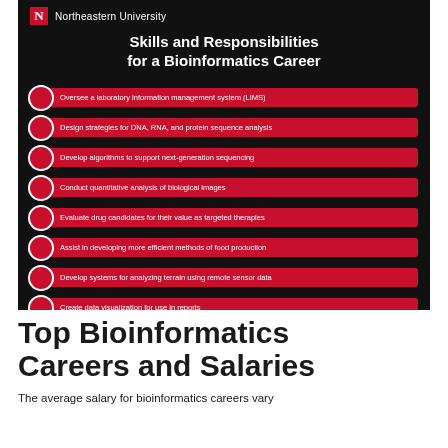[Figure (infographic): Northeastern University branded infographic on dark background listing 8 skills and responsibilities for a bioinformatics career, each displayed as a red bar with a red circle bullet.]
Top Bioinformatics Careers and Salaries
The average salary for bioinformatics careers vary